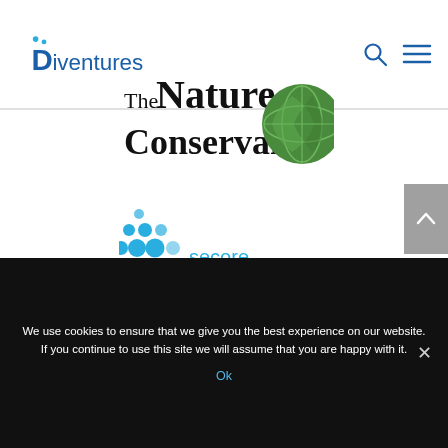Diventures
[Figure (logo): The Nature Conservancy logo with globe icon showing green leaf design]
[Figure (logo): Secore International logo with blue dot matrix pattern]
We use cookies to ensure that we give you the best experience on our website. If you continue to use this site we will assume that you are happy with it.
Ok